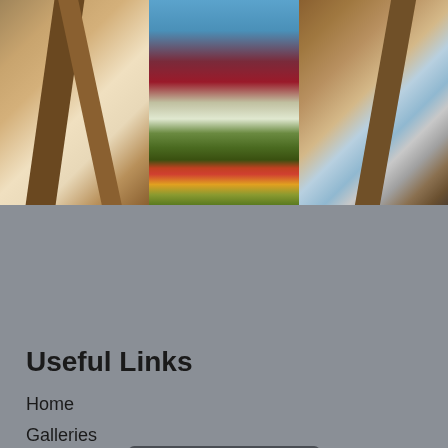[Figure (photo): Three-panel photo strip: left panel shows wooden easel legs close-up with blue-tinted background; center panel shows a colorful garden/landscape painting with red shrubs, white grasses, green tree, and orange flowers; right panel shows wooden easel legs with bubble wrap and art supplies]
Load More
Useful Links
Home
Galleries
About